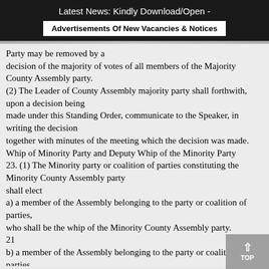Latest News: Kindly Download/Open - Advertisements Of New Vacancies & Notices
Party may be removed by a decision of the majority of votes of all members of the Majority County Assembly party.
(2) The Leader of County Assembly majority party shall forthwith, upon a decision being made under this Standing Order, communicate to the Speaker, in writing the decision together with minutes of the meeting which the decision was made.
Whip of Minority Party and Deputy Whip of the Minority Party
23. (1) The Minority party or coalition of parties constituting the Minority County Assembly party shall elect
a) a member of the Assembly belonging to the party or coalition of parties, who shall be the whip of the Minority County Assembly party.
21
b) a member of the Assembly belonging to the party or coalition of parties, who shall be the deputy whip of the Minority County Assembly party and